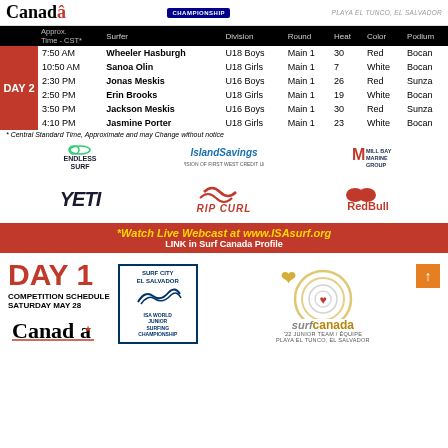Canada | CHAMPIONSHIP | PLAYA EL TUNCO, EL SALVADOR
| DATE | Approx. Time - CST* | Surfer | Division | Round | Heat | Color | Podium |
| --- | --- | --- | --- | --- | --- | --- | --- |
| DAY 2 | 7:50 AM | Wheeler Hasburgh | U18 Boys | Main 1 | 30 | Red | Bocan |
|  | 10:50 AM | Sanoa Olin | U18 Girls | Main 1 | 7 | White | Bocan |
|  | 2:30 PM | Jonas Meskis | U16 Boys | Main 1 | 26 | Red | Sunza |
|  | 2:50 PM | Erin Brooks | U18 Girls | Main 1 | 19 | White | Bocan |
|  | 3:50 PM | Jackson Meskis | U16 Boys | Main 1 | 30 | Red | Sunza |
|  | 4:10 PM | Jasmine Porter | U18 Girls | Main 1 | 23 | White | Bocan |
* Central Standard Time, Approximate and may Change without notice
[Figure (logo): Endless Surf logo]
[Figure (logo): Island Savings - A Division of First West Credit Union]
[Figure (logo): Mill Bay Marine Group logo]
[Figure (logo): YETI logo]
[Figure (logo): Rip Curl logo]
[Figure (logo): Red Bull logo]
*Watch Live Webcast at www.ISAsurf.org
LINK in Surf Canada Profile
DAY 1
COMPETITION SCHEDULE
SATURDAY MAY 28
[Figure (logo): Canada wordmark with maple leaf]
[Figure (logo): Surf City El Salvador ISA World Junior Surfing Championship badge]
[Figure (logo): Surf Canada '22 Junior Team logo with orange arrow]